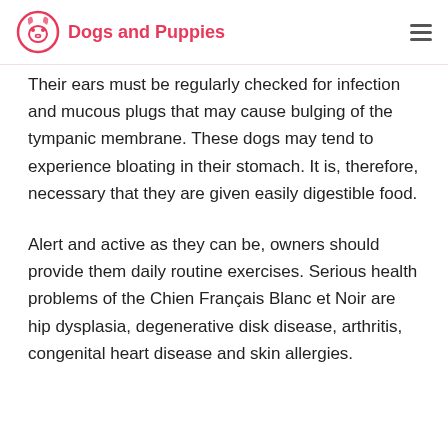Dogs and Puppies
Their ears must be regularly checked for infection and mucous plugs that may cause bulging of the tympanic membrane. These dogs may tend to experience bloating in their stomach. It is, therefore, necessary that they are given easily digestible food.
Alert and active as they can be, owners should provide them daily routine exercises. Serious health problems of the Chien Français Blanc et Noir are hip dysplasia, degenerative disk disease, arthritis, congenital heart disease and skin allergies.